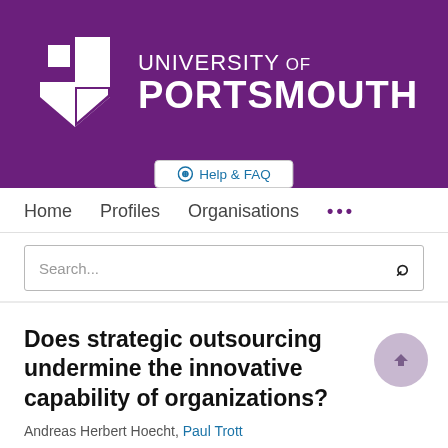[Figure (logo): University of Portsmouth logo with purple background, white geometric shield icon and white text reading UNIVERSITY OF PORTSMOUTH]
Help & FAQ
Home   Profiles   Organisations   ...
Search...
Does strategic outsourcing undermine the innovative capability of organizations?
Andreas Herbert Hoecht, Paul Trott